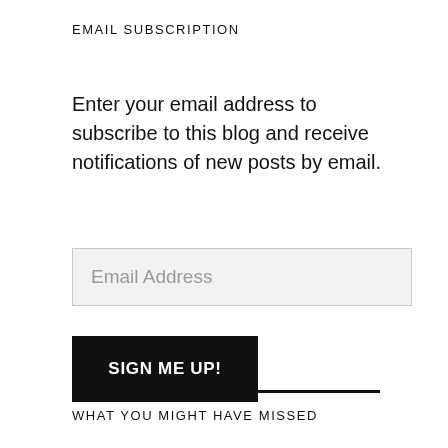EMAIL SUBSCRIPTION
Enter your email address to subscribe to this blog and receive notifications of new posts by email.
[Figure (other): Email address input field with placeholder text 'Email Address' on a light grey background with a border]
[Figure (other): Black button with white bold uppercase text 'SIGN ME UP!']
WHAT YOU MIGHT HAVE MISSED